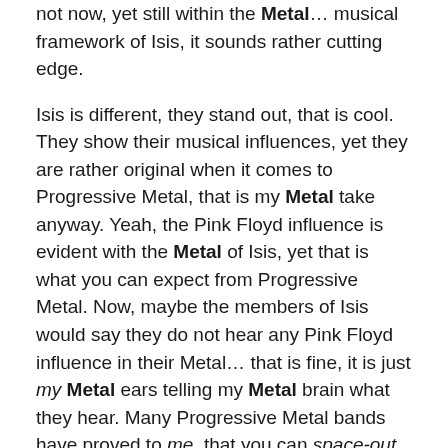not now, yet still within the Metal… musical framework of Isis, it sounds rather cutting edge.
Isis is different, they stand out, that is cool. They show their musical influences, yet they are rather original when it comes to Progressive Metal, that is my Metal take anyway. Yeah, the Pink Floyd influence is evident with the Metal of Isis, yet that is what you can expect from Progressive Metal. Now, maybe the members of Isis would say they do not hear any Pink Floyd influence in their Metal… that is fine, it is just my Metal ears telling my Metal brain what they hear. Many Progressive Metal bands have proved to me, that you can space-out to this genre of Metal, Isis is no exception. That is why I like Progressive Metal in the first place, this type of Metal affects me a whole bunch differently than say, Manowar. (It would be next to impossible to space-out to the